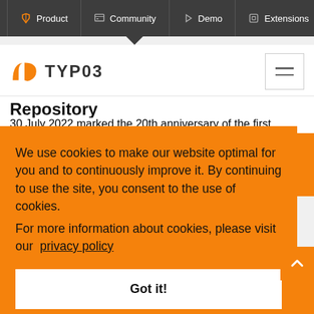Product | Community | Demo | Extensions
[Figure (logo): TYPO3 logo with orange wing icon and text 'TYP03']
Repository
30 July 2022 marked the 20th anniversary of the first…
We use cookies to make our website optimal for you and to continuously improve it. By continuing to use the site, you consent to the use of cookies.
For more information about cookies, please visit our privacy policy
Got it!
[Figure (logo): TYPO3 logo bottom partial]